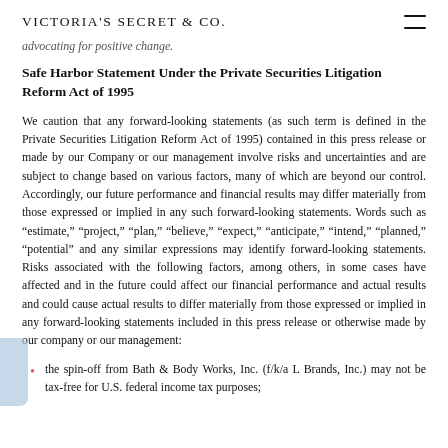Victoria's Secret & Co.
advocating for positive change.
Safe Harbor Statement Under the Private Securities Litigation Reform Act of 1995
We caution that any forward-looking statements (as such term is defined in the Private Securities Litigation Reform Act of 1995) contained in this press release or made by our Company or our management involve risks and uncertainties and are subject to change based on various factors, many of which are beyond our control. Accordingly, our future performance and financial results may differ materially from those expressed or implied in any such forward-looking statements. Words such as "estimate," "project," "plan," "believe," "expect," "anticipate," "intend," "planned," "potential" and any similar expressions may identify forward-looking statements. Risks associated with the following factors, among others, in some cases have affected and in the future could affect our financial performance and actual results and could cause actual results to differ materially from those expressed or implied in any forward-looking statements included in this press release or otherwise made by our company or our management:
the spin-off from Bath & Body Works, Inc. (f/k/a L Brands, Inc.) may not be tax-free for U.S. federal income tax purposes;